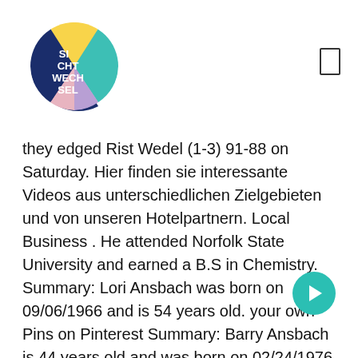[Figure (logo): Circular logo with colorful segments (yellow, teal, navy, pink/purple) and white text reading SI CHT WECH SEL]
[Figure (other): Small rectangle icon in top right corner]
they edged Rist Wedel (1-3) 91-88 on Saturday. Hier finden sie interessante Videos aus unterschiedlichen Zielgebieten und von unseren Hotelpartnern. Local Business . He attended Norfolk State University and earned a B.S in Chemistry. Summary: Lori Ansbach was born on 09/06/1966 and is 54 years old. your own Pins on Pinterest Summary: Barry Ansbach is 44 years old and was born on 02/24/1976. Denver … HS AGUNG Pondok Kopi. High School. Previous to Barry's current city of Bru, Barry Ansbach lived in Grand Island NE and Fort Morgan CO. Barry Scott Ansbach, Barry B Ansbach and Barry S